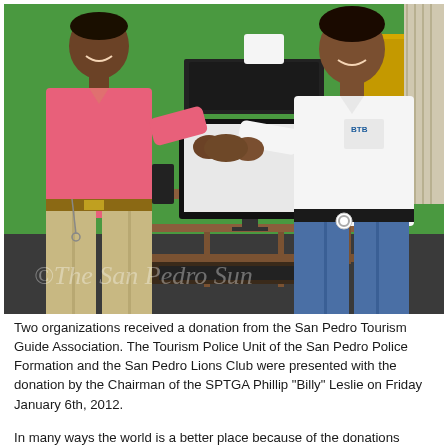[Figure (photo): Two people shaking hands in front of a computer desk with a printer on top. The person on the left wears a pink shirt and khaki pants, the person on the right wears a white BTB (Belize Tourism Board) shirt and jeans. The room has a green wall. A watermark reads '© The San Pedro Sun'.]
Two organizations received a donation from the San Pedro Tourism Guide Association. The Tourism Police Unit of the San Pedro Police Formation and the San Pedro Lions Club were presented with the donation by the Chairman of the SPTGA Phillip "Billy" Leslie on Friday January 6th, 2012.
In many ways the world is a better place because of the donations and...